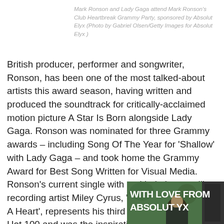Mark Ronson and Lady Gaga attend Mark Ronson's Club Heartbreak Grammy Party, sponsored by Absolut Elyx (Photo by Gabriel Olsen/Getty Images for Absolut Elyx )
British producer, performer and songwriter, Ronson, has been one of the most talked-about artists this award season, having written and produced the soundtrack for critically-acclaimed motion picture A Star Is Born alongside Lady Gaga. Ronson was nominated for three Grammy awards – including Song Of The Year for 'Shallow' with Lady Gaga – and took home the Grammy Award for Best Song Written for Visual Media. Ronson's current single with multi-platinum-selling recording artist Miley Cyrus, 'Nothing Breaks Like A Heart', represents his third entry on the Billboard Hot 100 and was the inspiration behind the evening's festivities.
[Figure (photo): Photo showing a banner reading 'WITH LOVE FROM ABSOLUT ELYX' with a person visible in the foreground, at the Mark Ronson Club Heartbreak Grammy Party sponsored by Absolut Elyx.]